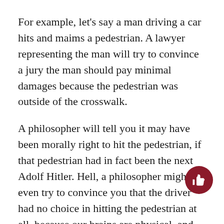For example, let's say a man driving a car hits and maims a pedestrian. A lawyer representing the man will try to convince a jury the man should pay minimal damages because the pedestrian was outside of the crosswalk.
A philosopher will tell you it may have been morally right to hit the pedestrian, if that pedestrian had in fact been the next Adolf Hitler. Hell, a philosopher might even try to convince you that the driver had no choice in hitting the pedestrian at all, because our brains are physical, and subject to the laws of cause and effect, and as such, all our actions are predestined.
With that logic on my side, I'd take a philosopher over a lawyer any day.
As a lawyer, everything you do, everything you say